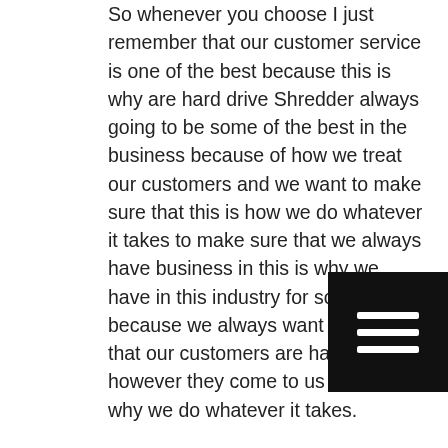So whenever you choose I just remember that our customer service is one of the best because this is why are hard drive Shredder always going to be some of the best in the business because of how we treat our customers and we want to make sure that this is how we do whatever it takes to make sure that we always have business in this is why we have in this industry for so long because we always want make sure that our customers are happy however they come to us and this is why we do whatever it takes.
So if you're just curious about any of their products for the services that we offer then go ahead and give us a call or even stop by our shop and we will happily answer any questions that you may have because our customer service is so out of this world and this is something that we always make sure to do because we always want to do whatever it takes to give you the best possible product the industry